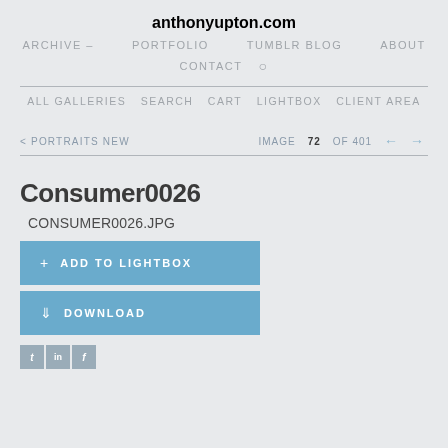anthonyupton.com
ARCHIVE – PORTFOLIO TUMBLR BLOG ABOUT CONTACT
ALL GALLERIES SEARCH CART LIGHTBOX CLIENT AREA
< PORTRAITS NEW   IMAGE 72 OF 401   ← →
Consumer0026
CONSUMER0026.JPG
+ ADD TO LIGHTBOX
↓ DOWNLOAD